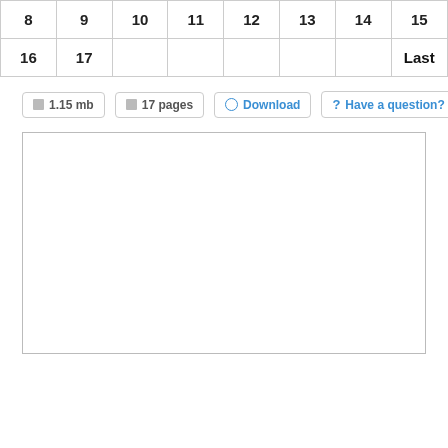| 8 | 9 | 10 | 11 | 12 | 13 | 14 | 15 |
| 16 | 17 |  |  |  |  |  | Last |
1.15 mb   17 pages   Download   Have a question?
[Figure (other): Empty white preview box with a thin border, representing a document preview area.]